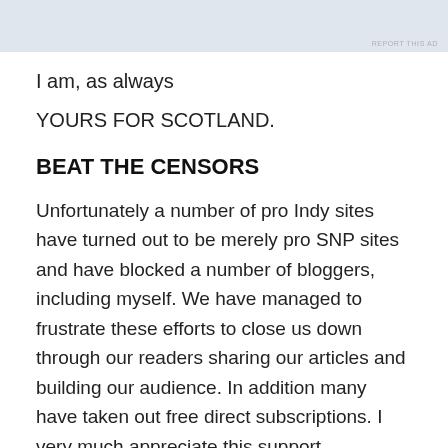[Figure (other): Advertisement banner placeholder (light blue-grey rectangle) with 'REPORT THIS AD' label in small grey text at bottom right]
I am, as always
YOURS FOR SCOTLAND.
BEAT THE CENSORS
Unfortunately a number of pro Indy sites have turned out to be merely pro SNP sites and have blocked a number of bloggers, including myself. We have managed to frustrate these efforts to close us down through our readers sharing our articles and building our audience. In addition many have taken out free direct subscriptions. I very much appreciate this support.
Free Subscriptions